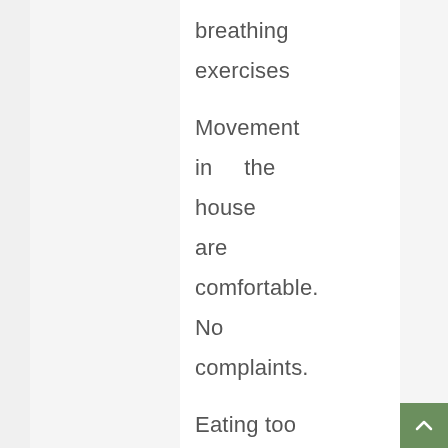breathing exercises Movement in the house are comfortable. No complaints. Eating too